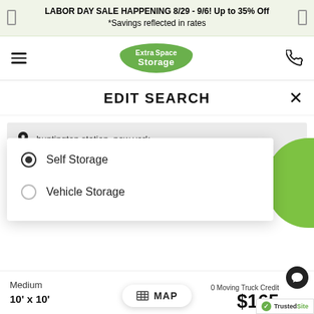LABOR DAY SALE HAPPENING 8/29 - 9/6! Up to 35% Off
*Savings reflected in rates
[Figure (logo): Extra Space Storage green logo badge]
EDIT SEARCH
huntington station, new york
Self Storage
Storage Size
Storage Size
Self Storage (selected)
Vehicle Storage
MAP
Medium
10' x 10'
0 Moving Truck Credit
$165
TrustedSite